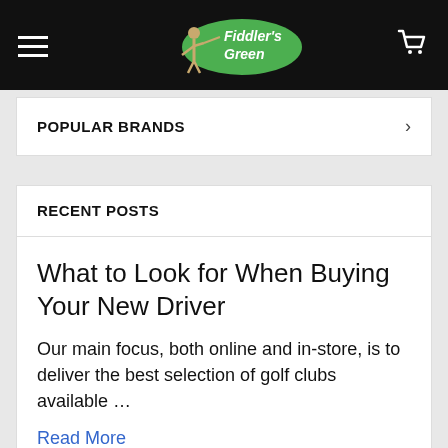Fiddler's Green — navigation bar with hamburger menu and cart icon
POPULAR BRANDS
RECENT POSTS
What to Look for When Buying Your New Driver
Our main focus, both online and in-store, is to deliver the best selection of golf clubs available …
Read More
What to Look for When Buying New Shoes